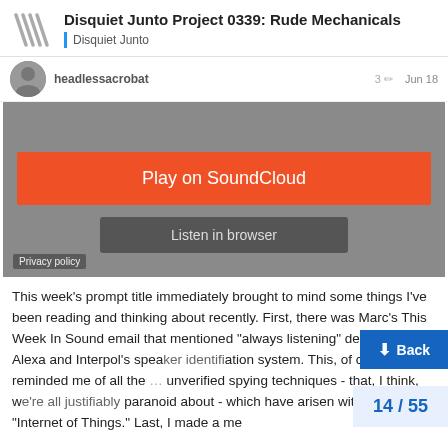Disquiet Junto Project 0339: Rude Mechanicals — Disquiet Junto
headlessacrobat   3   Jun 18
[Figure (screenshot): SoundCloud embedded player with orange 'Play on SoundCloud' button and gray 'Listen in browser' button on a gray background. Privacy policy link at bottom left.]
This week's prompt title immediately brought to mind some things I've been reading and thinking about recently. First, there was Marc's This Week In Sound email that mentioned "always listening" devices like Alexa and Interpol's speaker identification system. This, of course, reminded me of all the unverified spying techniques - that, I think, we're all justifiably paranoid about - which have arisen with di the "Internet of Things." Last, I made a me